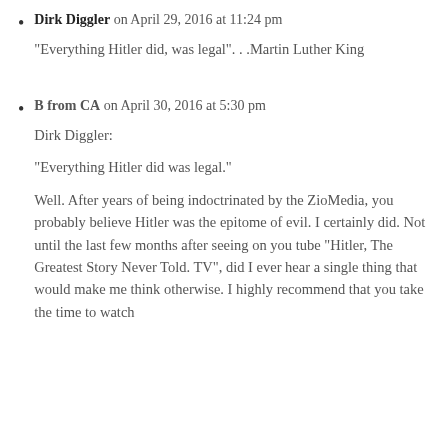Dirk Diggler on April 29, 2016 at 11:24 pm
“Everything Hitler did, was legal”. . .Martin Luther King
B from CA on April 30, 2016 at 5:30 pm

Dirk Diggler:

“Everything Hitler did was legal.”

Well. After years of being indoctrinated by the ZioMedia, you probably believe Hitler was the epitome of evil. I certainly did. Not until the last few months after seeing on you tube “Hitler, The Greatest Story Never Told. TV”, did I ever hear a single thing that would make me think otherwise. I highly recommend that you take the time to watch